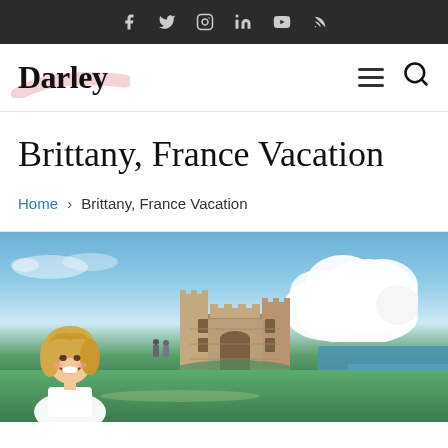Social icons: Facebook, Twitter, Instagram, LinkedIn, YouTube, RSS
Darley (logo) — navigation with hamburger menu and search
Brittany, France Vacation
Home › Brittany, France Vacation
[Figure (photo): Woman with blonde hair smiling in foreground, with a stone castle/fort ruin on a coastal cliff behind her, blue sky with large white cumulus clouds above, ocean visible to the right.]